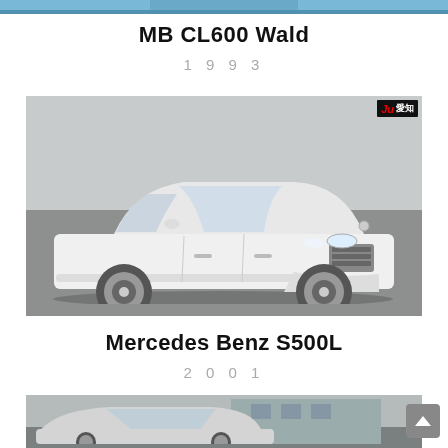[Figure (photo): Top strip of a car photo (cropped, showing blue/grey background, partially visible car)]
MB CL600 Wald
1993
[Figure (photo): White Mercedes-Benz S500L sedan photographed in a Japanese auction house, shown from front-left 3/4 angle. JU Aichi auction badge in top right corner.]
Mercedes Benz S500L
2001
[Figure (photo): Partial view of another car (cropped at bottom of page), appears to be a light-colored vehicle in front of a building.]